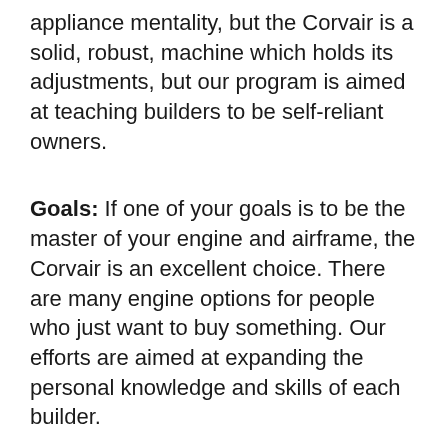appliance mentality, but the Corvair is a solid, robust, machine which holds its adjustments, but our program is aimed at teaching builders to be self-reliant owners.
Goals: If one of your goals is to be the master of your engine and airframe, the Corvair is an excellent choice. There are many engine options for people who just want to buy something. Our efforts are aimed at expanding the personal knowledge and skills of each builder.
Made in the USA: In an era where everything seems imported and companies like Continental have been sold to the Chinese Government. We have kept the "Made in the